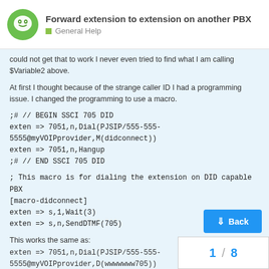Forward extension to extension on another PBX — General Help
could not get that to work I never even tried to find what I am calling $Variable2 above.
At first I thought because of the strange caller ID I had a programming issue. I changed the programming to use a macro.
;# // BEGIN SSCI 705 DID
exten => 7051,n,Dial(PJSIP/555-555-5555@myVOIPprovider,M(didconnect))
exten => 7051,n,Hangup
;# // END SSCI 705 DID
; This macro is for dialing the extension on DID capable PBX
[macro-didconnect]
exten => s,1,Wait(3)
exten => s,n,SendDTMF(705)
This works the same as:
exten => 7051,n,Dial(PJSIP/555-555-5555@myVOIPprovider,D(wwwwwww705))